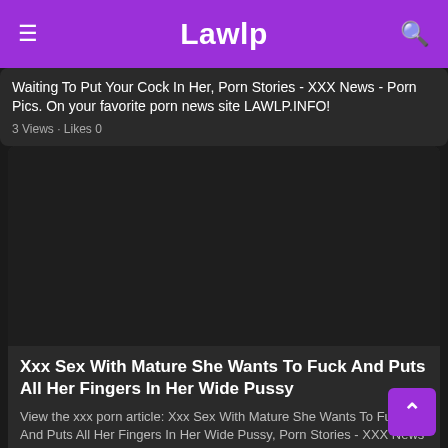Lawlp
Waiting To Put Your Cock In Her, Porn Stories - XXX News - Porn Pics. On your favorite porn news site LAWLP.INFO!
3 Views · Likes 0
[Figure (photo): Dark placeholder image area for article thumbnail]
Xxx Sex With Mature She Wants To Fuck And Puts All Her Fingers In Her Wide Pussy
View the xxx porn article: Xxx Sex With Mature She Wants To Fuck And Puts All Her Fingers In Her Wide Pussy, Porn Stories - XXX News - Porn Pics. On your favorite porn news site LAWLP.INFO!